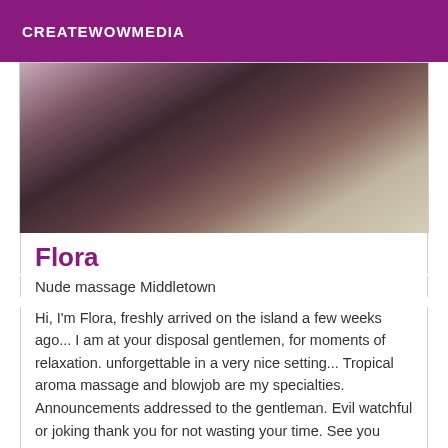CREATEWOWMEDIA
[Figure (photo): Close-up photo of a person's legs on a bed with white bedding]
Flora
Nude massage Middletown
Hi, I'm Flora, freshly arrived on the island a few weeks ago... I am at your disposal gentlemen, for moments of relaxation. unforgettable in a very nice setting... Tropical aroma massage and blowjob are my specialties. Announcements addressed to the gentleman. Evil watchful or joking thank you for not wasting your time. See you soon.